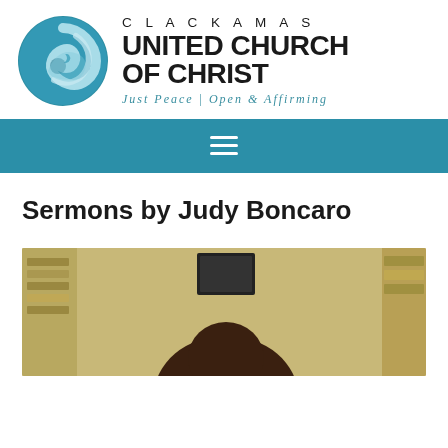[Figure (logo): Clackamas United Church of Christ logo with spiral wave circle and church name text and tagline 'Just Peace | Open & Affirming']
[Figure (screenshot): Navigation bar with hamburger menu icon (three horizontal white lines) on teal/blue background]
Sermons by Judy Boncaro
[Figure (photo): Photo of a person (Judy Boncaro) in a room with bookshelves, only top of head visible at bottom of frame]